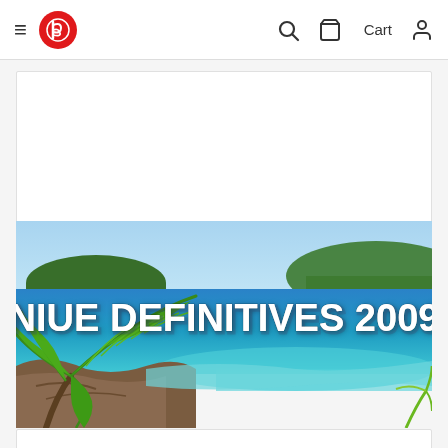Navigation bar with hamburger menu, logo, search, cart, and account icons
[Figure (illustration): White card/placeholder area above banner]
[Figure (photo): Banner image for Niue Definitives 2009 product page, showing tropical coastal scenery with blue ocean, rocky shoreline, green hillside, and palm fronds in foreground. White bold text overlay reads: NIUE DEFINITIVES 2009]
[Figure (illustration): White card/placeholder area below banner]